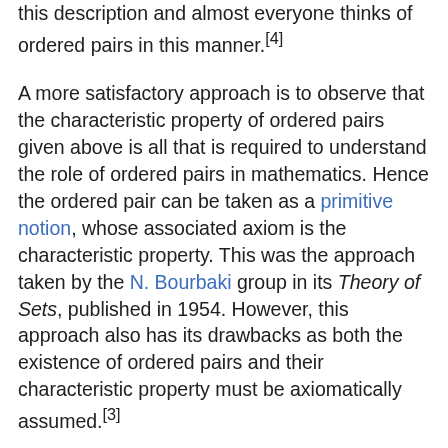this description and almost everyone thinks of ordered pairs in this manner.[4]
A more satisfactory approach is to observe that the characteristic property of ordered pairs given above is all that is required to understand the role of ordered pairs in mathematics. Hence the ordered pair can be taken as a primitive notion, whose associated axiom is the characteristic property. This was the approach taken by the N. Bourbaki group in its Theory of Sets, published in 1954. However, this approach also has its drawbacks as both the existence of ordered pairs and their characteristic property must be axiomatically assumed.[3]
Another way to rigorously deal with ordered pairs is to define them formally in the context of set theory. This can be done in several ways and has